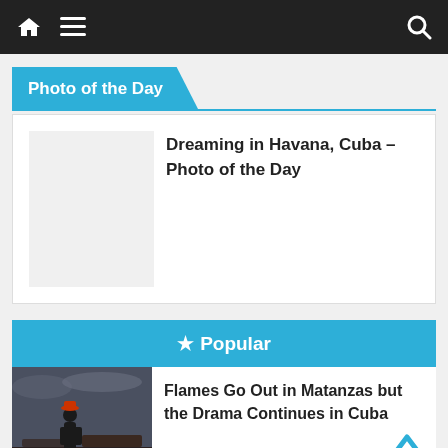Navigation bar with home icon, menu icon, and search icon
Photo of the Day
Dreaming in Havana, Cuba – Photo of the Day
★ Popular
[Figure (photo): A figure standing in a dark, industrial fire aftermath scene. GIRON label visible in red at bottom left.]
Flames Go Out in Matanzas but the Drama Continues in Cuba